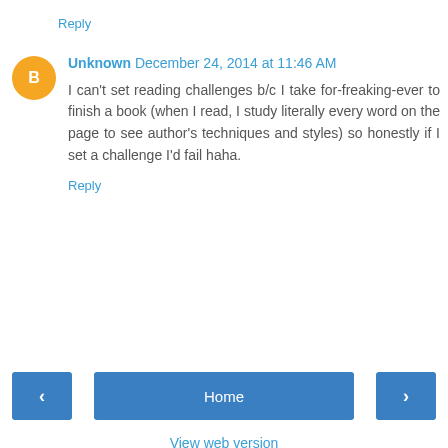Reply
Unknown  December 24, 2014 at 11:46 AM
I can't set reading challenges b/c I take for-freaking-ever to finish a book (when I read, I study literally every word on the page to see author's techniques and styles) so honestly if I set a challenge I'd fail haha.
Reply
Home
View web version
Powered by Blogger.